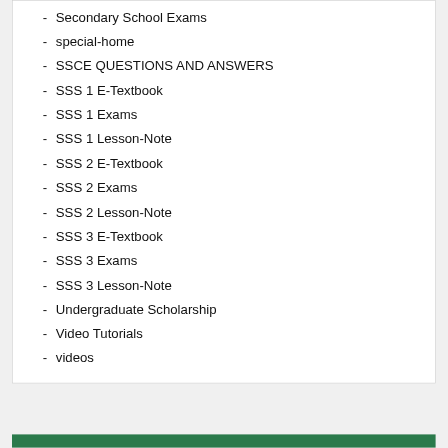Secondary School Exams
special-home
SSCE QUESTIONS AND ANSWERS
SSS 1 E-Textbook
SSS 1 Exams
SSS 1 Lesson-Note
SSS 2 E-Textbook
SSS 2 Exams
SSS 2 Lesson-Note
SSS 3 E-Textbook
SSS 3 Exams
SSS 3 Lesson-Note
Undergraduate Scholarship
Video Tutorials
videos